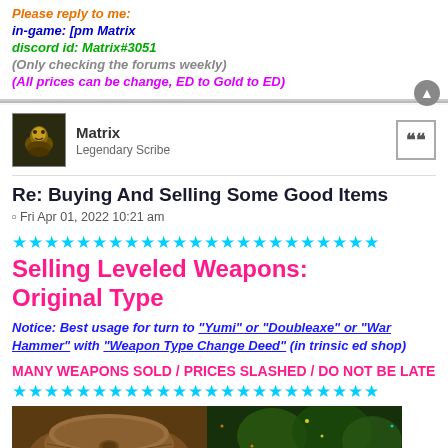Please reply to me:
in-game: [pm Matrix
discord id: Matrix#3051
(Only checking the forums weekly)
(All prices can be change, ED to Gold to ED)
Matrix
Legendary Scribe
Re: Buying And Selling Some Good Items
Fri Apr 01, 2022 10:21 am
★★★★★★★★★★★★★★★★★★★★★★★
Selling Leveled Weapons: Original Type
Notice: Best usage for turn to "Yumi" or "Doubleaxe" or "War Hammer" with "Weapon Type Change Deed" (in trinsic ed shop)
MANY WEAPONS SOLD / PRICES SLASHED / DO NOT BE LATE
★★★★★★★★★★★★★★★★★★★★★★★
[Figure (screenshot): Game screenshot showing a brown leather bag/pouch item and a dark forest background with sparkles]